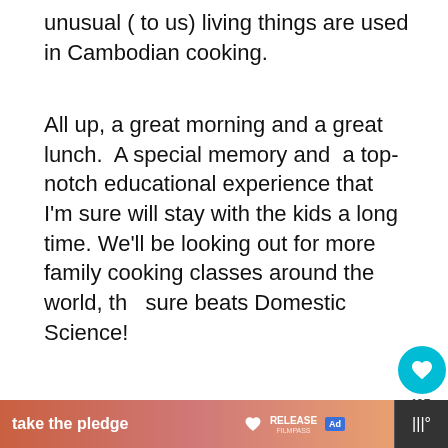unusual ( to us) living things are used in Cambodian cooking.
All up, a great morning and a great lunch.  A special memory and  a top-notch educational experience that I'm sure will stay with the kids a long time. We'll be looking out for more family cooking classes around the world, th sure beats Domestic Science!
[Figure (screenshot): Don't Text and Drive advertisement banner with yellow and cyan text on black background with red car emoji, and a What's Next panel showing One Day Battambang...]
[Figure (infographic): Bottom navigation bar with 'take the pledge' section in orange/salmon gradient, RELEASE logo, ad badge, and a weather/streaming icon section on dark background]